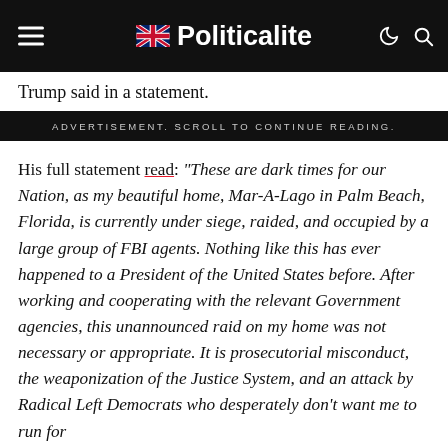Politicalite
Trump said in a statement.
ADVERTISEMENT. SCROLL TO CONTINUE READING.
His full statement read: “These are dark times for our Nation, as my beautiful home, Mar-A-Lago in Palm Beach, Florida, is currently under siege, raided, and occupied by a large group of FBI agents. Nothing like this has ever happened to a President of the United States before. After working and cooperating with the relevant Government agencies, this unannounced raid on my home was not necessary or appropriate. It is prosecutorial misconduct, the weaponization of the Justice System, and an attack by Radical Left Democrats who desperately don’t want me to run for